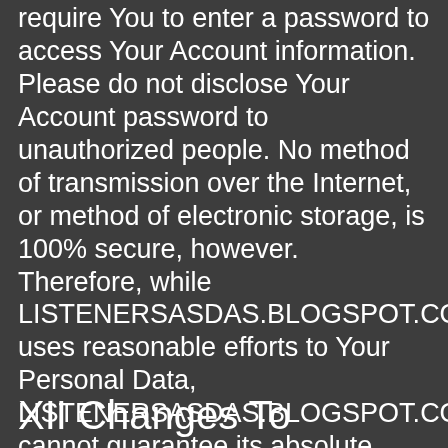require You to enter a password to access Your Account information. Please do not disclose Your Account password to unauthorized people. No method of transmission over the Internet, or method of electronic storage, is 100% secure, however. Therefore, while LISTENERSASDAS.BLOGSPOT.COM uses reasonable efforts to Your Personal Data, LISTENERSASDAS.BLOGSPOT.COM cannot guarantee its absolute security.
XII Changes To